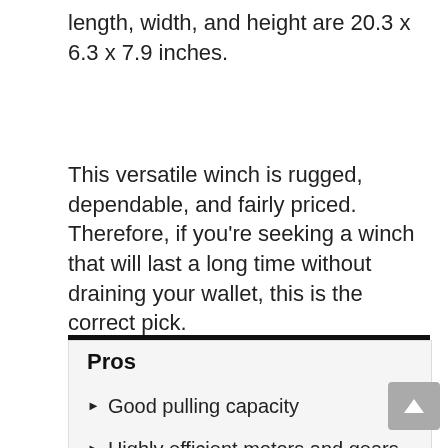length, width, and height are 20.3 x 6.3 x 7.9 inches.
This versatile winch is rugged, dependable, and fairly priced. Therefore, if you're seeking a winch that will last a long time without draining your wallet, this is the correct pick.
Pros
Good pulling capacity
Highly efficient motors and gears
Maximum support for synthetic rope